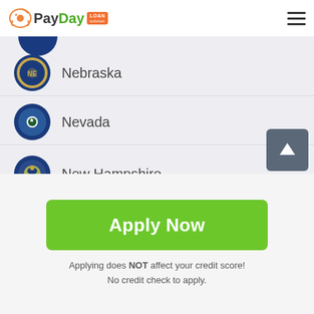PayDay Loan Solution
Nebraska
Nevada
New Hampshire
New Jersey
New Mexico
Apply Now
Applying does NOT affect your credit score!
No credit check to apply.